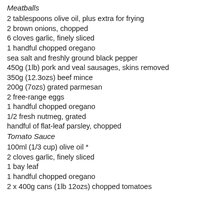Meatballs
2 tablespoons olive oil, plus extra for frying
2 brown onions, chopped
6 cloves garlic, finely sliced
1 handful chopped oregano
sea salt and freshly ground black pepper
450g (1lb) pork and veal sausages, skins removed
350g (12.3ozs) beef mince
200g (7ozs) grated parmesan
2 free-range eggs
1 handful chopped oregano
1/2 fresh nutmeg, grated
handful of flat-leaf parsley, chopped
Tomato Sauce
100ml (1/3 cup) olive oil *
2 cloves garlic, finely sliced
1 bay leaf
1 handful chopped oregano
2 x 400g cans (1lb 12ozs) chopped tomatoes